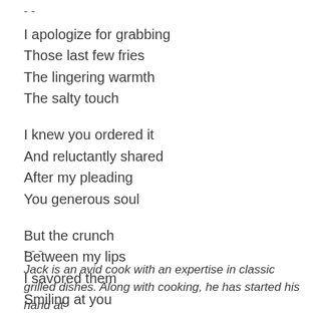- -
I apologize for grabbing
Those last few fries
The lingering warmth
The salty touch
I knew you ordered it
And reluctantly shared
After my pleading
You generous soul
But the crunch
Between my lips
I savored them
Smiling at you
- - -
Jack is an avid cook with an expertise in classic grilled dishes. Along with cooking, he has started his hand at...